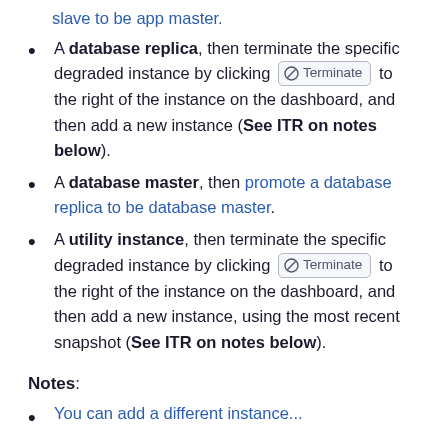slave to be app master.
A database replica, then terminate the specific degraded instance by clicking [Terminate] to the right of the instance on the dashboard, and then add a new instance (See ITR on notes below).
A database master, then promote a database replica to be database master.
A utility instance, then terminate the specific degraded instance by clicking [Terminate] to the right of the instance on the dashboard, and then add a new instance, using the most recent snapshot (See ITR on notes below).
Notes:
You can add a different instance...